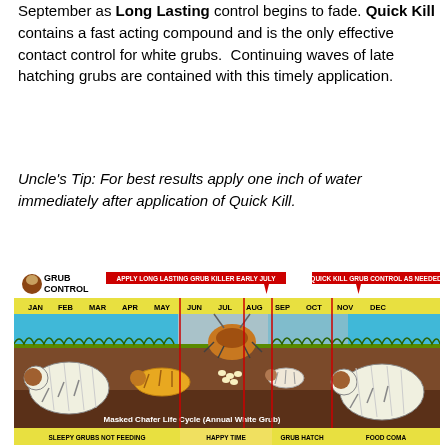September as Long Lasting control begins to fade. Quick Kill contains a fast acting compound and is the only effective contact control for white grubs. Continuing waves of late hatching grubs are contained with this timely application.
Uncle's Tip: For best results apply one inch of water immediately after application of Quick Kill.
[Figure (infographic): Grub Control diagram showing the Masked Chafer Life Cycle (Annual White Grub) across months JAN through DEC. Shows two arrow banners: 'APPLY LONG LASTING GRUB KILLER EARLY JULY' and 'QUICK KILL GRUB CONTROL AS NEEDED'. Illustration depicts grubs, beetle, and grass/soil layers. Bottom labels: SLEEPY GRUBS NOT FEEDING, HAPPY TIME, GRUB HATCH, FOOD COMA.]